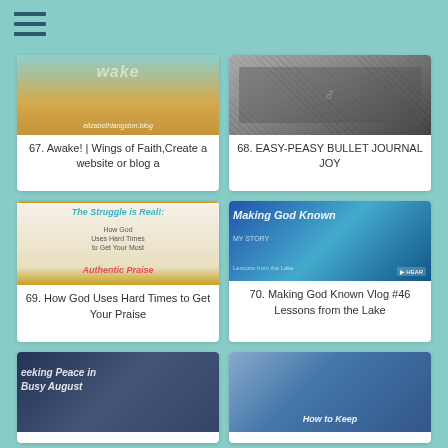[Figure (screenshot): Menu hamburger icon at top left]
[Figure (photo): Card 67: Awake! Wings of Faith - golden background blog image]
67. Awake! | Wings of Faith,Create a website or blog a
[Figure (photo): Card 68: Easy-Peasy Bullet Journal Joy - black and white photo]
68. EASY-PEASY BULLET JOURNAL JOY
[Figure (photo): Card 69: The Struggle is Real! How God Uses Hard Times to Get Your Most Authentic Praise]
69. How God Uses Hard Times to Get Your Praise
[Figure (photo): Card 70: Making God Known Vlog #46 Lessons from the Lake]
70. Making God Known Vlog #46 Lessons from the Lake
[Figure (photo): Card 71: Seeking Peace in Busy August - dark background with handwritten text]
[Figure (photo): Card 72: How to Keep - person with instrument]